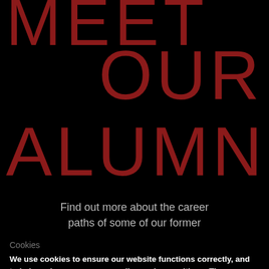MEET OUR ALUMNI
Find out more about the career paths of some of our former
Cookies
We use cookies to ensure our website functions correctly, and to help us improve your overall experience with us. The information is processed in a way that won't identify you.
ACCEPT COOKIES
CUSTOMISE COOKIES